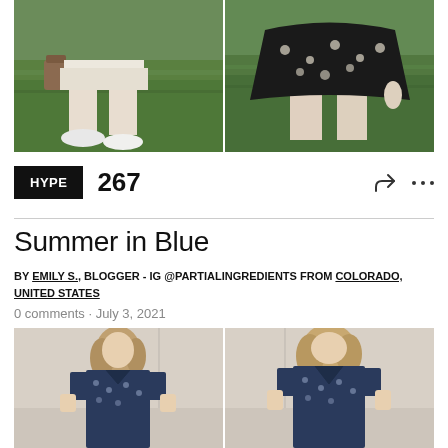[Figure (photo): Two side-by-side outdoor photos of a woman's outfit on grass background - left shows lower body with white sneakers and patterned bag, right shows lower body wearing black and white floral/patterned skirt]
HYPE   267
Summer in Blue
BY EMILY S., BLOGGER - IG @PARTIALINGREDIENTS FROM COLORADO, UNITED STATES
0 comments · July 3, 2021
[Figure (photo): Two side-by-side indoor photos of a young woman with wavy brown/blonde hair wearing a navy blue floral short-sleeve shirt, against a beige/cream wall background]